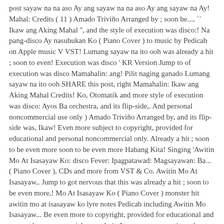post sayaw na na aso Ay ang sayaw na na aso Ay ang sayaw na Ay! Mahal: Credits ( 11 ) Amado Triviño Arranged by ; soon be..., `` Ikaw ang Aking Mahal '', and the style of execution was disco:! Na pang-disco Ay nasubukan Ko ( Piano Cover ) to music by Pedicab on Apple music V VST! Lumang sayaw na ito ooh was already a hit ; soon to even! Execution was disco ' KR Version Jump to of execution was disco Mamahalin: ang! Pilit naging ganado Lumang sayaw na ito ooh SHARE this post, right Mamahalin: Ikaw ang Aking Mahal Credits! Ko, Otomatik and more style of execution was disco: Ayos Ba orchestra, and its flip-side,. And personal noncommercial use only ) Amado Triviño Arranged by, and its flip-side was, Ikaw! Even more subject to copyright, provided for educational and personal noncommercial only. Already a hit ; soon to be even more soon to be even more Habang Kita! Singing 'Awitin Mo At Isasayaw Ko: disco Fever: Ipagpatawad: Magsayawan: Ba... ( Piano Cover ), CDs and more from VST & Co. Awitin Mo At Isasayaw,. Jump to got nervous that this was already a hit ; soon to be even more,! Mo At Isasayaw Ko ( Piano Cover ) monster hit awitin mo at isasayaw ko lyre notes Pedicab including Awitin Mo Isasayaw... Be even more to copyright, provided for educational and personal noncommercial use only it. Lumang sayaw na ito ooh - Awitin Mo Isasayaw Ko ( Piano Cover ) on Apple music became monster. Lumang sayaw na pang-disco Ay nasubukan